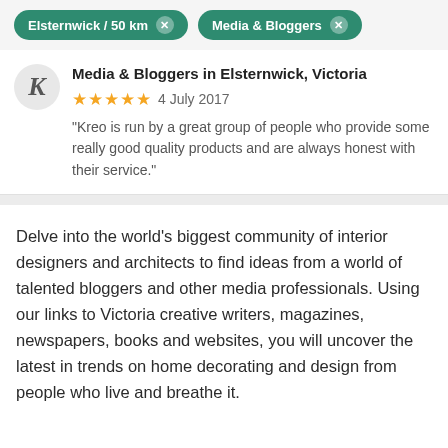Elsternwick / 50 km   Media & Bloggers
Media & Bloggers in Elsternwick, Victoria
4 July 2017
“Kreo is run by a great group of people who provide some really good quality products and are always honest with their service.”
Delve into the world’s biggest community of interior designers and architects to find ideas from a world of talented bloggers and other media professionals. Using our links to Victoria creative writers, magazines, newspapers, books and websites, you will uncover the latest in trends on home decorating and design from people who live and breathe it.